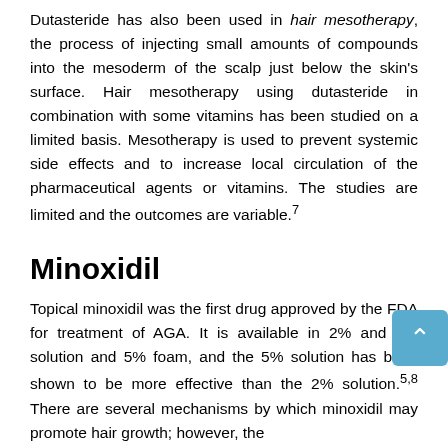Dutasteride has also been used in hair mesotherapy, the process of injecting small amounts of compounds into the mesoderm of the scalp just below the skin's surface. Hair mesotherapy using dutasteride in combination with some vitamins has been studied on a limited basis. Mesotherapy is used to prevent systemic side effects and to increase local circulation of the pharmaceutical agents or vitamins. The studies are limited and the outcomes are variable.⁷
Minoxidil
Topical minoxidil was the first drug approved by the FDA for treatment of AGA. It is available in 2% and 5% solution and 5% foam, and the 5% solution has been shown to be more effective than the 2% solution.⁵˒⁸ There are several mechanisms by which minoxidil may promote hair growth; however, the